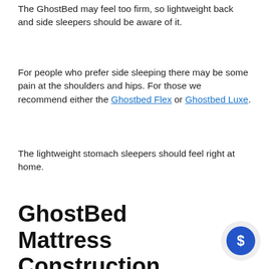The GhostBed may feel too firm, so lightweight back and side sleepers should be aware of it.
For people who prefer side sleeping there may be some pain at the shoulders and hips. For those we recommend either the Ghostbed Flex or Ghostbed Luxe.
The lightweight stomach sleepers should feel right at home.
GhostBed Mattress Construction